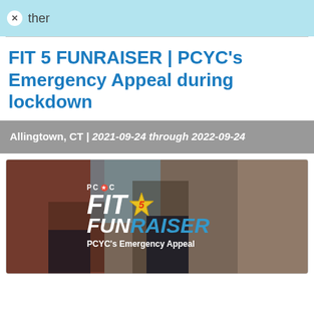Other
FIT 5 FUNRAISER | PCYC's Emergency Appeal during lockdown
Allingtown, CT | 2021-09-24 through 2022-09-24
[Figure (photo): Promotional image for FIT 5 FUNRAISER PCYC's Emergency Appeal, showing girls exercising with PCYC logo and event branding overlay]